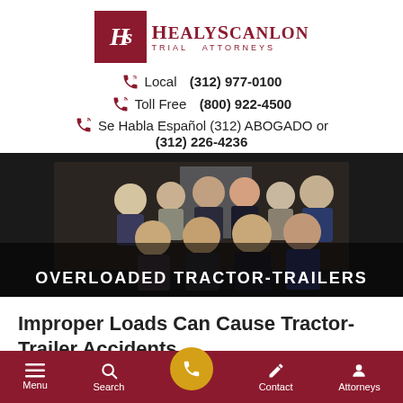[Figure (logo): HealyScanlon Trial Attorneys logo with HS monogram in dark red square]
Local (312) 977-0100
Toll Free (800) 922-4500
Se Habla Español (312) ABOGADO or (312) 226-4236
[Figure (photo): Group photo of attorneys in formal attire with overlay text OVERLOADED TRACTOR-TRAILERS]
Improper Loads Can Cause Tractor-Trailer Accidents
Menu | Search | (call button) | Contact | Attorneys